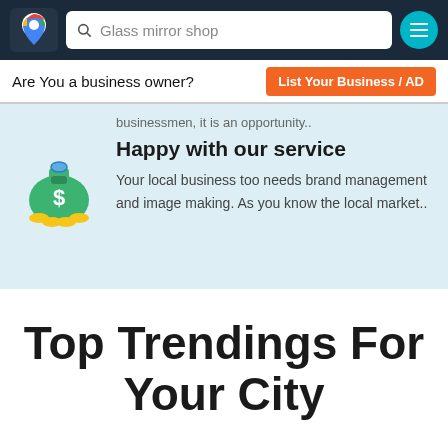[Figure (screenshot): Google Maps style logo/pin icon in dark navy header]
Glass mirror shop
Are You a business owner?
List Your Business / AD
businessmen, it is an opportunity..
Happy with our service
Your local business too needs brand management and image making. As you know the local market..
Top Trendings For Your City